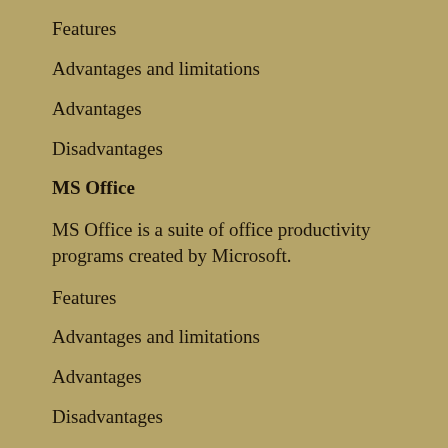Features
Advantages and limitations
Advantages
Disadvantages
MS Office
MS Office is a suite of office productivity programs created by Microsoft.
Features
Advantages and limitations
Advantages
Disadvantages